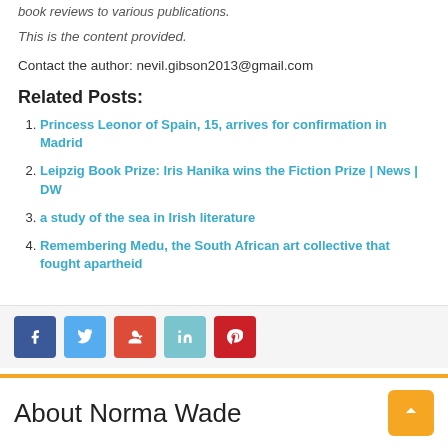book reviews to various publications.
This is the content provided.
Contact the author: nevil.gibson2013@gmail.com
Related Posts:
Princess Leonor of Spain, 15, arrives for confirmation in Madrid
Leipzig Book Prize: Iris Hanika wins the Fiction Prize | News | DW
a study of the sea in Irish literature
Remembering Medu, the South African art collective that fought apartheid
About Norma Wade